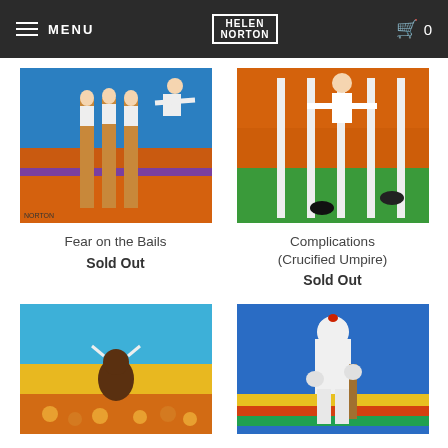MENU | HELEN NORTON | 0
[Figure (illustration): Painting of cricket stumps with figures in white jumping/falling, vivid orange and blue background. Title: Fear on the Bails]
Fear on the Bails
Sold Out
[Figure (illustration): Painting showing a figure on stilts/cross in a cricket field with crowd in orange. Title: Complications (Crucified Umpire)]
Complications (Crucified Umpire)
Sold Out
[Figure (illustration): Painting with bull/minotaur figure in crowd, blue sky and yellow/orange ground]
[Figure (illustration): Painting of a cricket player in white gear standing with bat, colorful striped background]